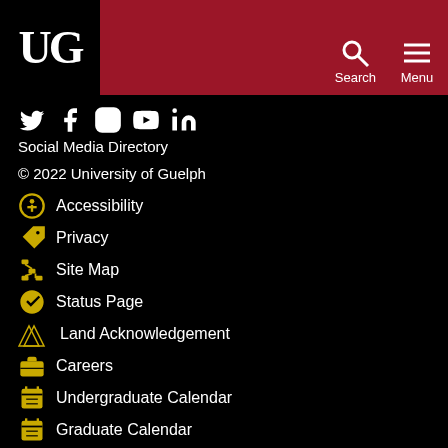UG | University of Guelph — Search | Menu
Social Media Icons: Twitter, Facebook, Instagram, YouTube, LinkedIn
Social Media Directory
© 2022 University of Guelph
Accessibility
Privacy
Site Map
Status Page
Land Acknowledgement
Careers
Undergraduate Calendar
Graduate Calendar
Program Plans
Give to U of G
University of Guelph
50 Stone Road East,